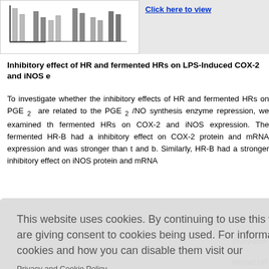[Figure (other): Partial bar chart image visible in top-left strip]
Click here to view
Inhibitory effect of HR and fermented HRs on LPS-Induced COX-2 and iNOS e...
To investigate whether the inhibitory effects of HR and fermented HRs on PGE 2 are related to the PGE 2 /NO synthesis enzyme repression, we examined th... fermented HRs on COX-2 and iNOS expression. The fermented HR-B had a inhibitory effect on COX-2 protein and mRNA expression and was stronger than t... and b. Similarly, HR-B had a stronger inhibitory effect on iNOS protein and mRNA...
This website uses cookies. By continuing to use this website you are giving consent to cookies being used. For information on cookies and how you can disable them visit our Privacy and Cookie Policy.
AGREE & PROCEED